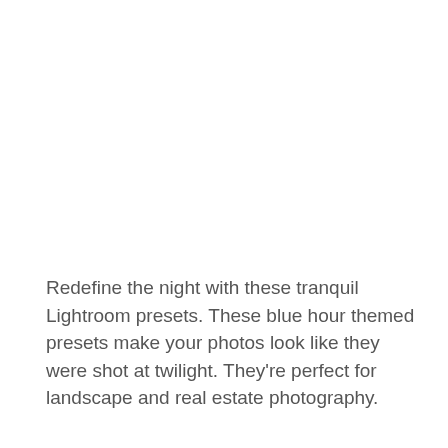Redefine the night with these tranquil Lightroom presets. These blue hour themed presets make your photos look like they were shot at twilight. They're perfect for landscape and real estate photography.